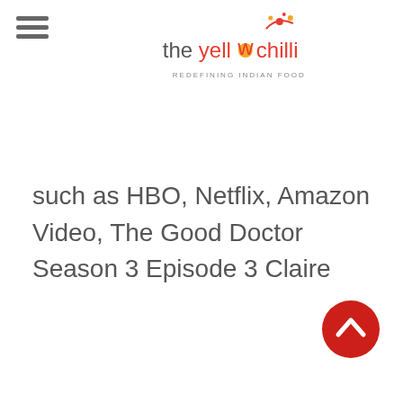[Figure (logo): The Yellow Chilli logo with text 'the yellow chilli' in red/orange and tagline 'REDEFINING INDIAN FOOD' in grey]
such as HBO, Netflix, Amazon Video, The Good Doctor Season 3 Episode 3 Claire
[Figure (illustration): Red circular scroll-to-top button with white upward chevron arrow]